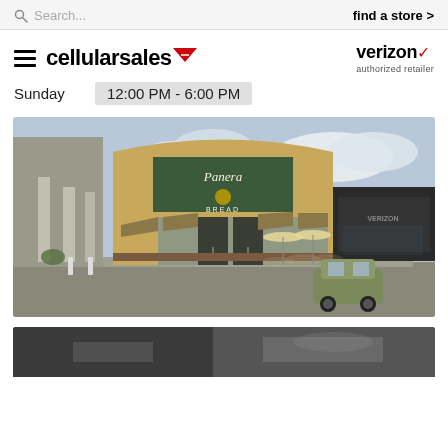Search... | find a store >
[Figure (logo): Cellular Sales logo with hamburger menu and Verizon authorized retailer logo]
Sunday   12:00 PM - 6:00 PM
[Figure (photo): Street-level photo of a strip mall showing Panera Bread and a Verizon store, with a green SUV in the parking lot]
[Figure (photo): Partial bottom photo of another location, cropped]